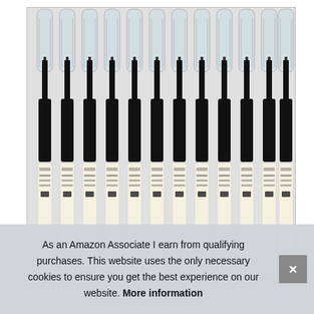[Figure (photo): A product photo showing approximately 12 black gel pens (rollerball pens) arranged side by side, with clear transparent caps on top. The pens have black barrels and white label sections with printed text. The brand appears to be a Chinese pen brand.]
As an Amazon Associate I earn from qualifying purchases. This website uses the only necessary cookies to ensure you get the best experience on our website. More information